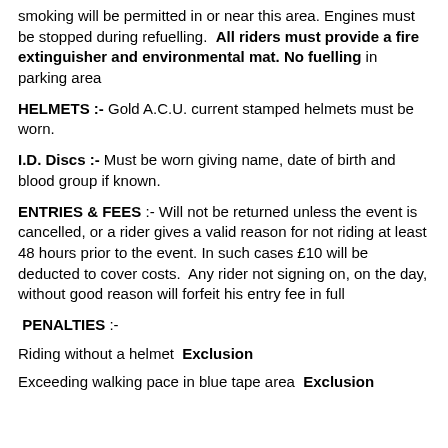smoking will be permitted in or near this area. Engines must be stopped during refuelling. All riders must provide a fire extinguisher and environmental mat. No fuelling in parking area
HELMETS :- Gold A.C.U. current stamped helmets must be worn.
I.D. Discs :- Must be worn giving name, date of birth and blood group if known.
ENTRIES & FEES :- Will not be returned unless the event is cancelled, or a rider gives a valid reason for not riding at least 48 hours prior to the event. In such cases £10 will be deducted to cover costs. Any rider not signing on, on the day, without good reason will forfeit his entry fee in full
PENALTIES :-
Riding without a helmet Exclusion
Exceeding walking pace in blue tape area Exclusion